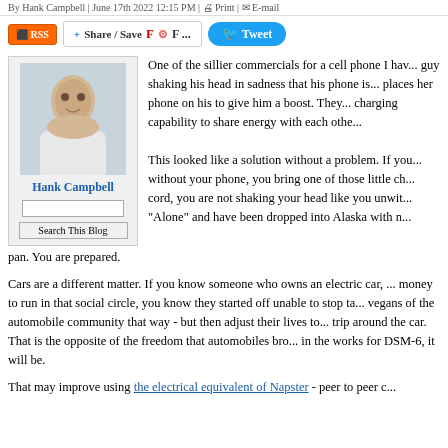By Hank Campbell | June 17th 2022 12:15 PM | Print | E-mail
[Figure (infographic): Social sharing buttons: RSS, Share/Save, Flipboard icons, Tweet button]
[Figure (photo): Author photo of Hank Campbell, a man in a light-colored shirt]
Hank Campbell
Search This Blog
One of the sillier commercials for a cell phone I hav... guy shaking his head in sadness that his phone is... places her phone on his to give him a boost. They... charging capability to share energy with each othe...
This looked like a solution without a problem. If you... without your phone, you bring one of those little ch... cord, you are not shaking your head like you unwit... "Alone" and have been dropped into Alaska with n... pan. You are prepared.
Cars are a different matter. If you know someone who owns an electric car,... money to run in that social circle, you know they started off unable to stop ta... vegans of the automobile community that way - but then adjust their lives to... trip around the car. That is the opposite of the freedom that automobiles bro... in the works for DSM-6, it will be.
That may improve using the electrical equivalent of Napster - peer to peer c...